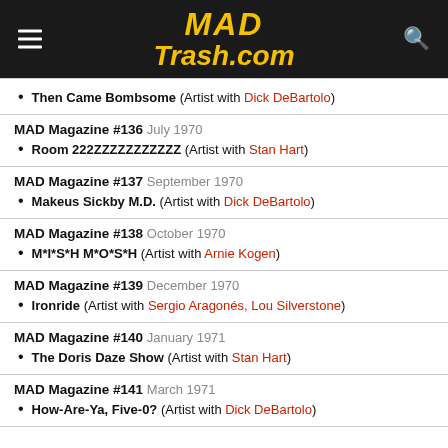MAD Trash.com
Then Came Bombsome (Artist with Dick DeBartolo)
MAD Magazine #136 July 1970
Room 222ZZZZZZZZZZZ (Artist with Stan Hart)
MAD Magazine #137 September 1970
Makeus Sickby M.D. (Artist with Dick DeBartolo)
MAD Magazine #138 October 1970
M*I*S*H M*O*S*H (Artist with Arnie Kogen)
MAD Magazine #139 December 1970
Ironride (Artist with Sergio Aragonés, Lou Silverstone)
MAD Magazine #140 January 1971
The Doris Daze Show (Artist with Stan Hart)
MAD Magazine #141 March 1971
How-Are-Ya, Five-0? (Artist with Dick DeBartolo)